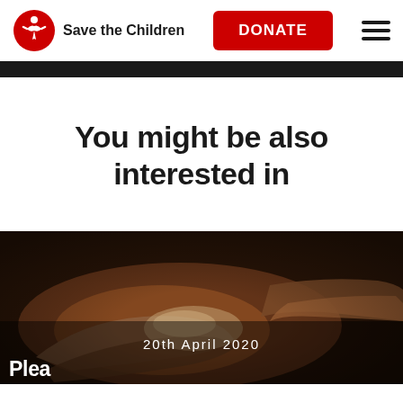Save the Children | DONATE
You might be also interested in
[Figure (photo): Close-up photograph of hands being washed with soap, dark moody lighting, article card image]
20th April 2020
Plea...